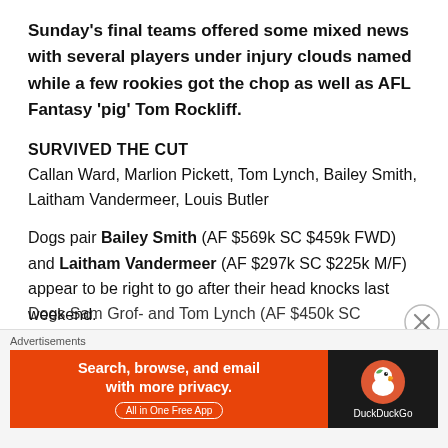Sunday's final teams offered some mixed news with several players under injury clouds named while a few rookies got the chop as well as AFL Fantasy 'pig' Tom Rockliff.
SURVIVED THE CUT
Callan Ward, Marlion Pickett, Tom Lynch, Bailey Smith, Laitham Vandermeer, Louis Butler
Dogs pair Bailey Smith (AF $569k SC $459k FWD) and Laitham Vandermeer (AF $297k SC $225k M/F) appear to be right to go after their head knocks last weekend.
Dogs Sam Grof- and Tom Lynch (AF $450k SC...
[Figure (screenshot): DuckDuckGo advertisement banner: orange left section with text 'Search, browse, and email with more privacy. All in One Free App' and dark right section with DuckDuckGo duck logo and brand name.]